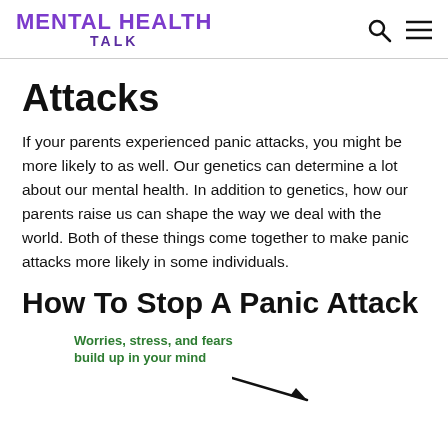MENTAL HEALTH TALK
Attacks
If your parents experienced panic attacks, you might be more likely to as well. Our genetics can determine a lot about our mental health. In addition to genetics, how our parents raise us can shape the way we deal with the world. Both of these things come together to make panic attacks more likely in some individuals.
How To Stop A Panic Attack
[Figure (infographic): Infographic showing cycle of panic attack with text 'Worries, stress, and fears build up in your mind' and an arrow pointing right/downward]